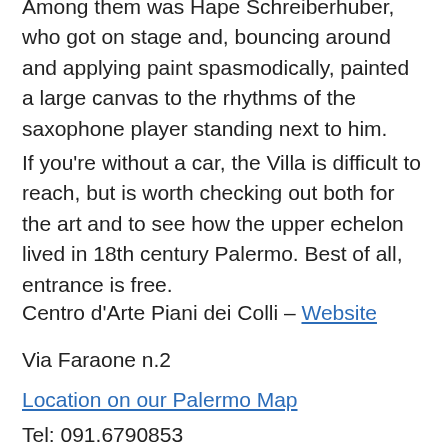Among them was Hape Schreiberhuber, who got on stage and, bouncing around and applying paint spasmodically, painted a large canvas to the rhythms of the saxophone player standing next to him.
If you're without a car, the Villa is difficult to reach, but is worth checking out both for the art and to see how the upper echelon lived in 18th century Palermo. Best of all, entrance is free.
Centro d'Arte Piani dei Colli – Website
Via Faraone n.2
Location on our Palermo Map
Tel: 091.6790853